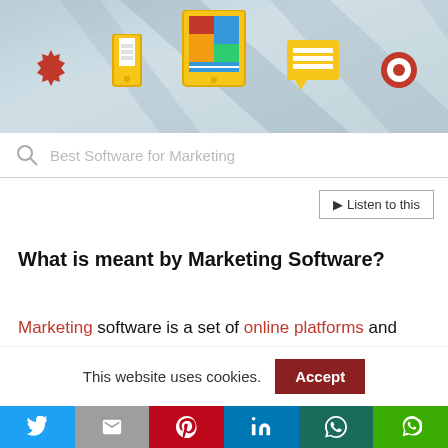[Figure (illustration): Banner with flat design marketing icons: gear, phone, tablet with colorful tiles, chat/document icon, settings icon on light blue diagonal shadow background]
Best Software for Marketing
Listen to this
What is meant by Marketing Software?
Marketing software is a set of online platforms and apps that assist organizations in expanding their reach through lucrative and engaging campaigns.
This website uses cookies. Accept
[Figure (infographic): Social sharing bar with Twitter, Gmail, Pinterest, LinkedIn, WhatsApp, LINE icons]